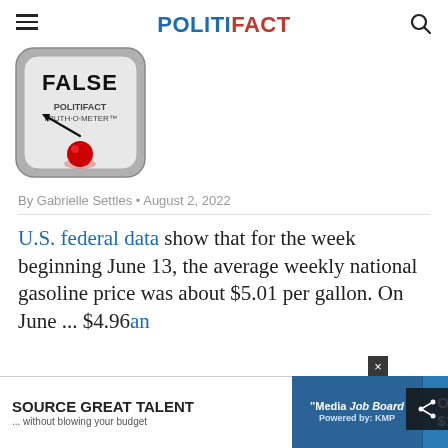POLITIFACT
[Figure (illustration): PolitiFact Truth-O-Meter gauge showing FALSE rating with red indicator light, gray meter face, needle pointing to the left (False) position]
By Gabrielle Settles • August 2, 2022
U.S. federal data show that for the week beginning June 13, the average weekly national gasoline price was about $5.01 per gallon. On June [text cut off] $4.96 [text cut off] an
[Figure (screenshot): Advertisement bar: SOURCE GREAT TALENT ...without blowing your budget | Media Job Board | Only $199]